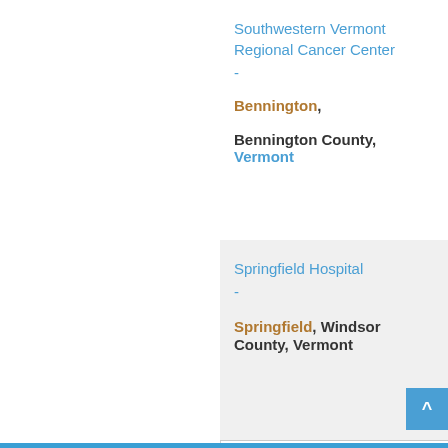Southwestern Vermont Regional Cancer Center
-
Bennington,
Bennington County, Vermont
Springfield Hospital
-
Springfield, Windsor County, Vermont